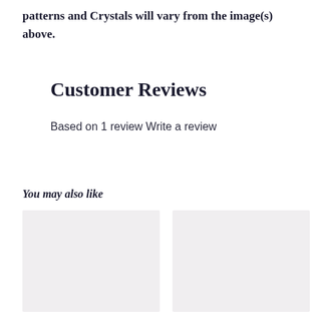patterns and Crystals will vary from the image(s) above.
Customer Reviews
Based on 1 review Write a review
You may also like
[Figure (photo): Two product image placeholder boxes side by side]